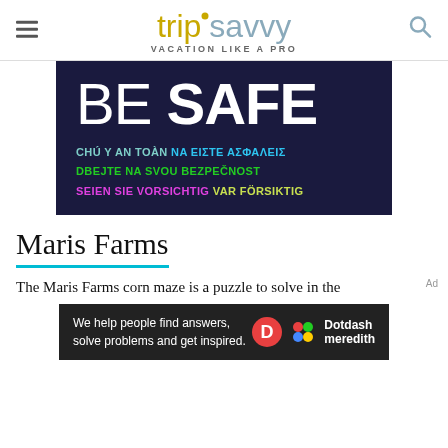tripsavvy VACATION LIKE A PRO
[Figure (infographic): Dark navy background ad banner with large white text 'BE SAFE' and multilingual translations: CHU Y AN TOAN (teal), NA EISTE ASFALEIS (blue), DBEJTE NA SVOU BEZPECNOST (green), SEIEN SIE VORSICHTIG (pink), VAR FORSIKTIG (yellow-green)]
Maris Farms
The Maris Farms corn maze is a puzzle to solve in the
[Figure (infographic): Dotdash Meredith bottom banner: 'We help people find answers, solve problems and get inspired.' with Dotdash Meredith logo]